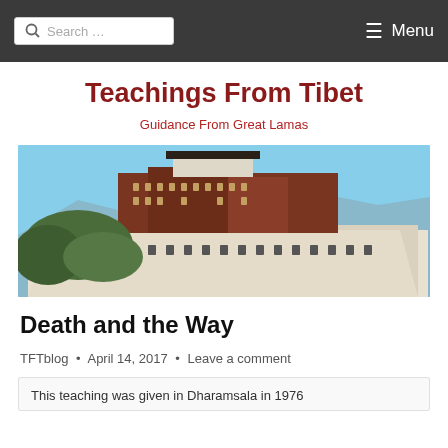Search ... Menu
Teachings From Tibet
Guidance From Great Lamas
[Figure (photo): Photograph of the Potala Palace in Lhasa, Tibet — a large white and red multi-storey palace structure on a hillside against a blue sky]
Death and the Way
TFTblog • April 14, 2017 • Leave a comment
This teaching was given in Dharamsala in 1976